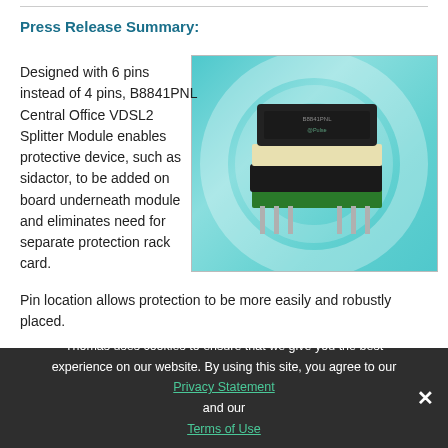Press Release Summary:
[Figure (photo): Photo of B8841PNL Central Office VDSL2 Splitter Module component on a green PCB with pins, displayed against a teal circular swirl background]
Designed with 6 pins instead of 4 pins, B8841PNL Central Office VDSL2 Splitter Module enables protective device, such as sidactor, to be added on board underneath module and eliminates need for separate protection rack card. Pin location allows protection to be more easily and robustly placed.
Thomas uses cookies to ensure that we give you the best experience on our website. By using this site, you agree to our Privacy Statement and our Terms of Use.